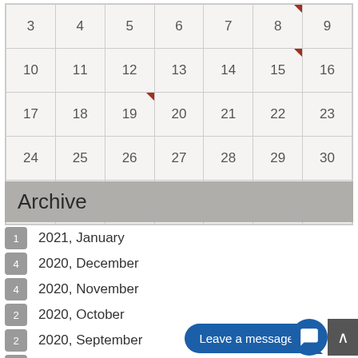| 3 | 4 | 5 | 6 | 7 | 8 | 9 |
| 10 | 11 | 12 | 13 | 14 | 15 | 16 |
| 17 | 18 | 19 | 20 | 21 | 22 | 23 |
| 24 | 25 | 26 | 27 | 28 | 29 | 30 |
| 1 | 2 | 3 | 4 | 5 | 6 | 7 |
Archive
1  2021, January
4  2020, December
4  2020, November
2  2020, October
2  2020, September
4  2020, August
2  2020, July
5  2020, June